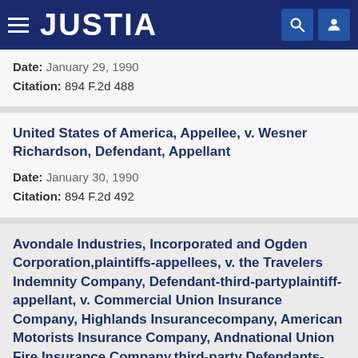JUSTIA
Date: January 29, 1990
Citation: 894 F.2d 488
United States of America, Appellee, v. Wesner Richardson, Defendant, Appellant
Date: January 30, 1990
Citation: 894 F.2d 492
Avondale Industries, Incorporated and Ogden Corporation,plaintiffs-appellees, v. the Travelers Indemnity Company, Defendant-third-partyplaintiff-appellant, v. Commercial Union Insurance Company, Highlands Insurancecompany, American Motorists Insurance Company, Andnational Union Fire Insurance Company,third-party Defendants-appellees